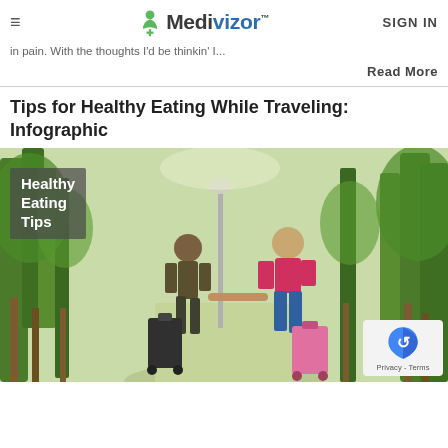☰  Medivizor™  SIGN IN
in pain. With the thoughts I'd be thinkin' I...
Read More
Tips for Healthy Eating While Traveling: Infographic
[Figure (photo): Two children walking hand-in-hand along a tree-lined path, each pulling a small rolling suitcase. Overlay text reads 'Healthy Eating Tips'. A reCAPTCHA privacy badge is visible in the bottom-right corner.]